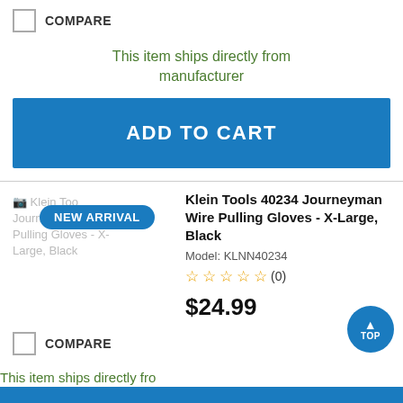COMPARE
This item ships directly from manufacturer
ADD TO CART
[Figure (photo): Klein Tools Journeyman Wire Pulling Gloves - X-Large, Black product image placeholder with NEW ARRIVAL badge]
Klein Tools 40234 Journeyman Wire Pulling Gloves - X-Large, Black
Model: KLNN40234
(0)
$24.99
COMPARE
This item ships directly from manufacturer